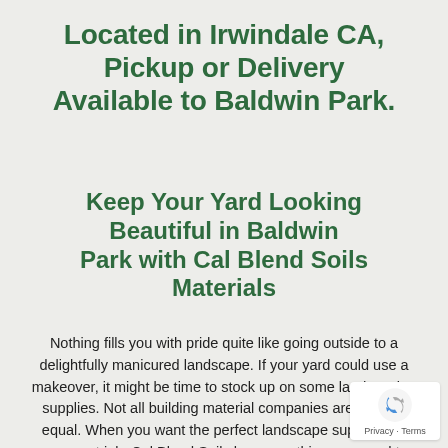Located in Irwindale CA, Pickup or Delivery Available to Baldwin Park.
Keep Your Yard Looking Beautiful in Baldwin Park with Cal Blend Soils Materials
Nothing fills you with pride quite like going outside to a delightfully manicured landscape. If your yard could use a makeover, it might be time to stock up on some landscaping supplies. Not all building material companies are created equal. When you want the perfect landscape supplies for your next job, Cal Blend Soils has everything you need to keep your yard looking great all year long.